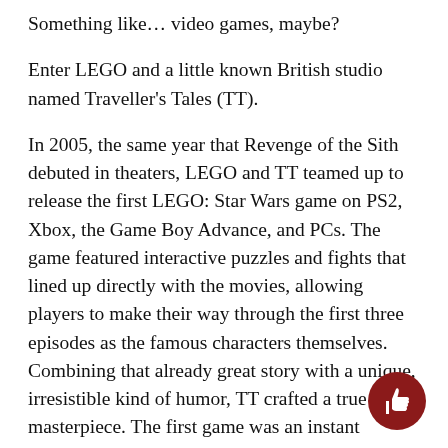Something like… video games, maybe?
Enter LEGO and a little known British studio named Traveller's Tales (TT).
In 2005, the same year that Revenge of the Sith debuted in theaters, LEGO and TT teamed up to release the first LEGO: Star Wars game on PS2, Xbox, the Game Boy Advance, and PCs. The game featured interactive puzzles and fights that lined up directly with the movies, allowing players to make their way through the first three episodes as the famous characters themselves. Combining that already great story with a unique, irresistible kind of humor, TT crafted a true masterpiece. The first game was an instant success, able to put a smile on both the critics' faces and the faces of children lucky enough to experience it all the way back then.
[partially visible line at bottom]